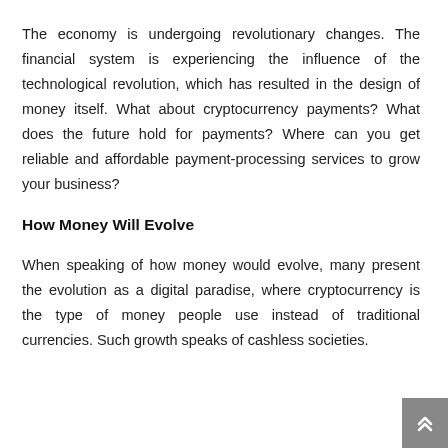The economy is undergoing revolutionary changes. The financial system is experiencing the influence of the technological revolution, which has resulted in the design of money itself. What about cryptocurrency payments? What does the future hold for payments? Where can you get reliable and affordable payment-processing services to grow your business?
How Money Will Evolve
When speaking of how money would evolve, many present the evolution as a digital paradise, where cryptocurrency is the type of money people use instead of traditional currencies. Such growth speaks of cashless societies.